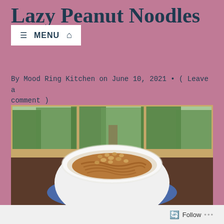Lazy Peanut Noodles
By Mood Ring Kitchen on June 10, 2021 • ( Leave a comment )
[Figure (photo): A white bowl filled with peanut noodles topped with peanuts, sitting on a blue patterned placemat in front of a large window overlooking a green yard.]
Follow